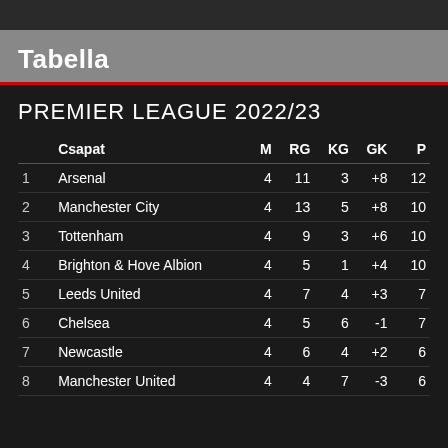Tabella
PREMIER LEAGUE 2022/23
|  | Csapat | M | RG | KG | GK | P |
| --- | --- | --- | --- | --- | --- | --- |
| 1 | Arsenal | 4 | 11 | 3 | +8 | 12 |
| 2 | Manchester City | 4 | 13 | 5 | +8 | 10 |
| 3 | Tottenham | 4 | 9 | 3 | +6 | 10 |
| 4 | Brighton & Hove Albion | 4 | 5 | 1 | +4 | 10 |
| 5 | Leeds United | 4 | 7 | 4 | +3 | 7 |
| 6 | Chelsea | 4 | 5 | 6 | -1 | 7 |
| 7 | Newcastle | 4 | 6 | 4 | +2 | 6 |
| 8 | Manchester United | 4 | 4 | 7 | -3 | 6 |